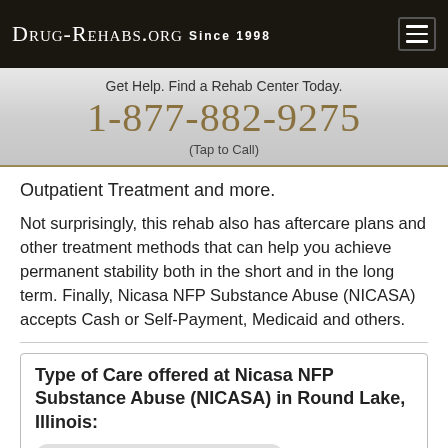Drug-Rehabs.org Since 1998
Get Help. Find a Rehab Center Today.
1-877-882-9275
(Tap to Call)
Outpatient Treatment and more.
Not surprisingly, this rehab also has aftercare plans and other treatment methods that can help you achieve permanent stability both in the short and in the long term. Finally, Nicasa NFP Substance Abuse (NICASA) accepts Cash or Self-Payment, Medicaid and others.
Type of Care offered at Nicasa NFP Substance Abuse (NICASA) in Round Lake, Illinois:
Drug and Alcohol Rehab Services